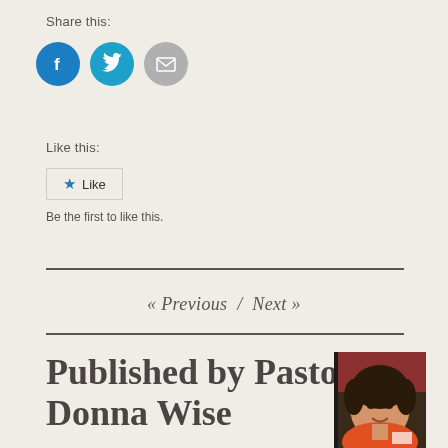Share this:
[Figure (illustration): Social share buttons: Facebook (blue circle with f icon), Twitter (blue circle with bird icon), Email (gray circle with envelope icon)]
Like this:
[Figure (illustration): Like button with star icon]
Be the first to like this.
« Previous  /  Next »
Published by Pastor Donna Wise
[Figure (photo): Photo of Pastor Donna Wise, a woman with dark hair wearing an orange top, smiling]